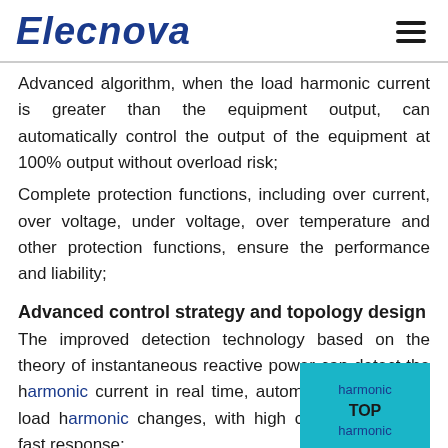Elecnova
Advanced algorithm, when the load harmonic current is greater than the equipment output, can automatically control the output of the equipment at 100% output without overload risk;
Complete protection functions, including over current, over voltage, under voltage, over temperature and other protection functions, ensure the performance and liability;
Advanced control strategy and topology design
The improved detection technology based on the theory of instantaneous reactive power can detect the harmonic current in real time, automatically track the load harmonic changes, with high controllability and fast response;
Using a unique phase-splitting harmonic extraction